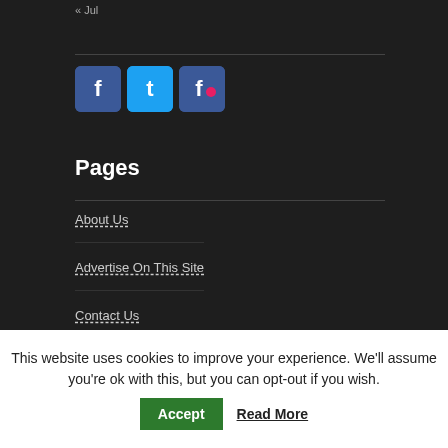« Jul
[Figure (illustration): Three social media icons: Facebook (blue, 'f'), Twitter (light blue, 't'), and Friendfeed (blue, 'f' with pink accent)]
Pages
About Us
Advertise On This Site
Contact Us
Disclaimer
Forum
This website uses cookies to improve your experience. We'll assume you're ok with this, but you can opt-out if you wish.
Accept
Read More